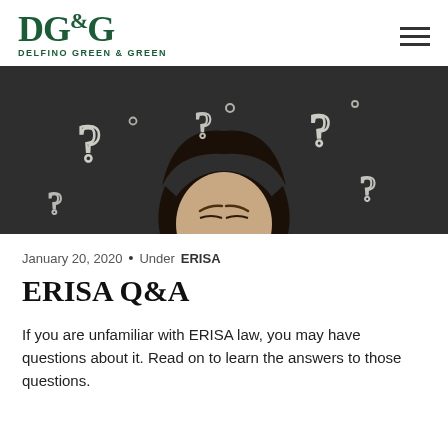DG&G DELFINO GREEN & GREEN
[Figure (photo): Woman with dark hair viewed from above against a dark chalkboard background with multiple chalk question marks drawn around her head]
January 20, 2020  •  Under  ERISA
ERISA Q&A
If you are unfamiliar with ERISA law, you may have questions about it. Read on to learn the answers to those questions.